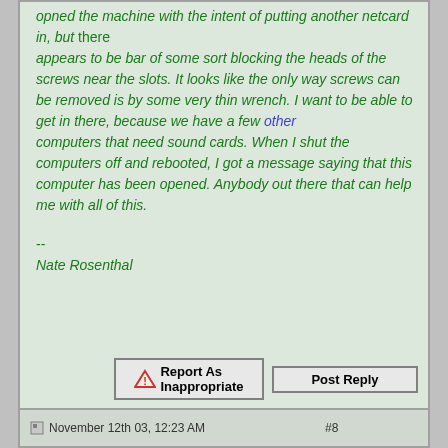opned the machine with the intent of putting another netcard in, but there appears to be bar of some sort blocking the heads of the screws near the slots. It looks like the only way screws can be removed is by some very thin wrench. I want to be able to get in there, because we have a few other computers that need sound cards. When I shut the computers off and rebooted, I got a message saying that this computer has been opened. Anybody out there that can help me with all of this.

--
Nate Rosenthal
November 12th 03, 12:23 AM  #8